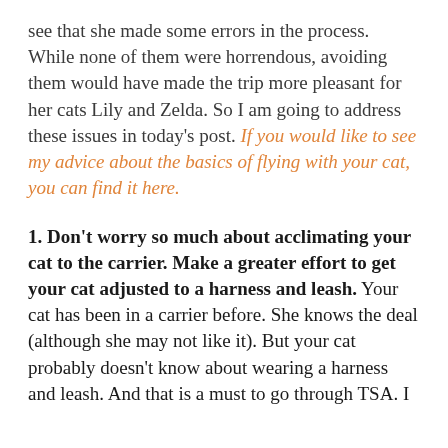see that she made some errors in the process. While none of them were horrendous, avoiding them would have made the trip more pleasant for her cats Lily and Zelda. So I am going to address these issues in today's post. If you would like to see my advice about the basics of flying with your cat, you can find it here.
1. Don't worry so much about acclimating your cat to the carrier. Make a greater effort to get your cat adjusted to a harness and leash. Your cat has been in a carrier before. She knows the deal (although she may not like it). But your cat probably doesn't know about wearing a harness and leash. And that is a must to go through TSA. I